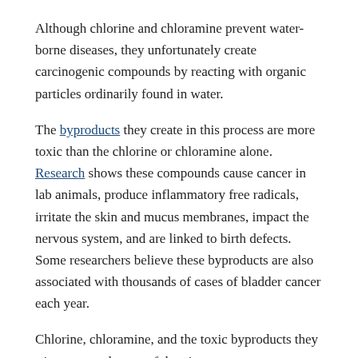Although chlorine and chloramine prevent water-borne diseases, they unfortunately create carcinogenic compounds by reacting with organic particles ordinarily found in water.
The byproducts they create in this process are more toxic than the chlorine or chloramine alone. Research shows these compounds cause cancer in lab animals, produce inflammatory free radicals, irritate the skin and mucus membranes, impact the nervous system, and are linked to birth defects. Some researchers believe these byproducts are also associated with thousands of cases of bladder cancer each year.
Chlorine, chloramine, and the toxic byproducts they trigger are only part of the picture — our water supplies are contaminated by an estimated more than 100,000 industrial chemicals and heavy metals. These toxins come from car exhaust, pollution, farming, and industrial waste.